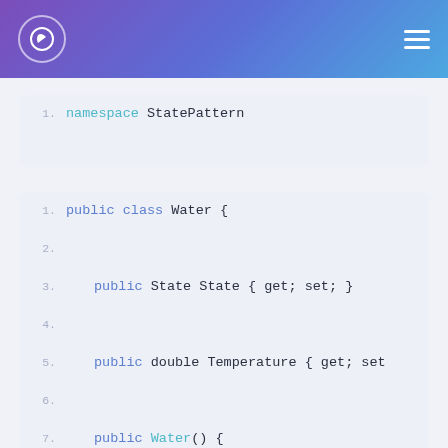Navigation header with logo and hamburger menu
[Figure (screenshot): Code snippet showing 'namespace StatePattern' with line number 1]
[Figure (screenshot): Code snippet showing Water class definition lines 1-16 with public class Water, State property, Temperature property, Water() constructor initializing SolidState, and Increase method]